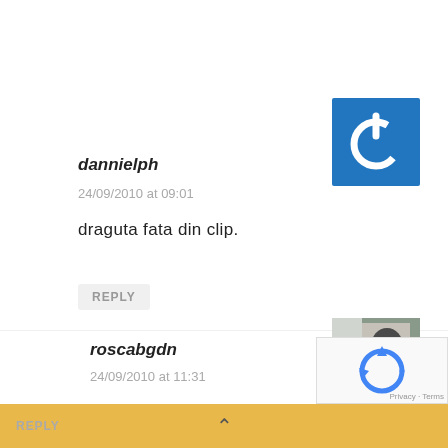dannielph
24/09/2010 at 09:01
[Figure (logo): Blue square with white power/on symbol icon, used as avatar for dannielph]
draguta fata din clip.
REPLY
roscabgdn
24/09/2010 at 11:31
[Figure (photo): Small thumbnail photo of a person, avatar for roscabgdn]
@dannielph :))
REPLY
[Figure (logo): reCAPTCHA widget overlay in bottom right]